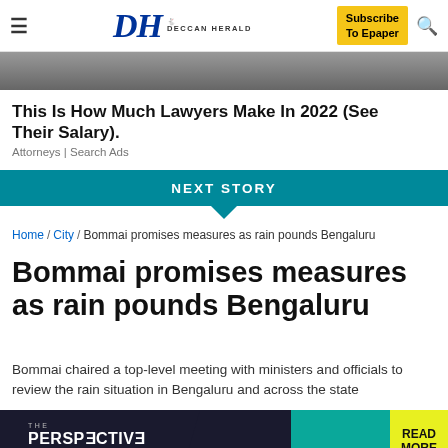Deccan Herald — Menu | DH DECCAN HERALD | Subscribe To Epaper | Search
[Figure (photo): Partial top image strip showing a person, cropped at top of page]
This Is How Much Lawyers Make In 2022 (See Their Salary).
Attorneys | Search Ads
NEXT STORY
Home / City / Bommai promises measures as rain pounds Bengaluru
Bommai promises measures as rain pounds Bengaluru
Bommai chaired a top-level meeting with ministers and officials to review the rain situation in Bengaluru and across the state
[Figure (screenshot): The Perspective advertisement banner: 'THE PERSPECTIVE — SEE WHAT YOU'RE MISSING — READ MORE']